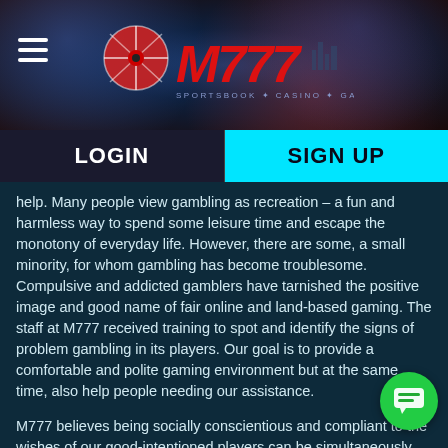[Figure (logo): M777 Sportsbook Casino Games logo on dark blue/red background with hamburger menu icon on the left]
LOGIN   SIGN UP
help. Many people view gambling as recreation – a fun and harmless way to spend some leisure time and escape the monotony of everyday life. However, there are some, a small minority, for whom gambling has become troublesome. Compulsive and addicted gamblers have tarnished the positive image and good name of fair online and land-based gaming. The staff at M777 received training to spot and identify the signs of problem gambling in its players. Our goal is to provide a comfortable and polite gaming environment but at the same time, also help people needing our assistance.
M777 believes being socially conscientious and compliant to the wishes of our good-intentioned players can be simultaneously achieved. Gamblers Anonymous is a popular organization that helps people having problems with gambling. They are a fellowship of men and women with one common trait, the desire to stop gambling compulsively. They pool their experiences, strengths, and hope to overcome their addictions.